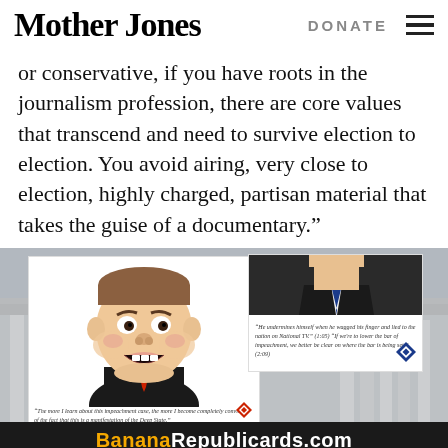Mother Jones | DONATE
or conservative, if you have roots in the journalism profession, there are core values that transcend and need to survive election to election. You avoid airing, very close to election, highly charged, partisan material that takes the guise of a documentary.”
[Figure (photo): Composite image showing the US Capitol building in background with two overlaid card images: left card features a caricature of a man in a suit with red tie with caption about impeachment case and Deep State; right card shows a person in suit with quote about wagging finger on national TV and impeachment bar. Bottom banner reads BananaRepublicards.com in yellow and white text on dark background.]